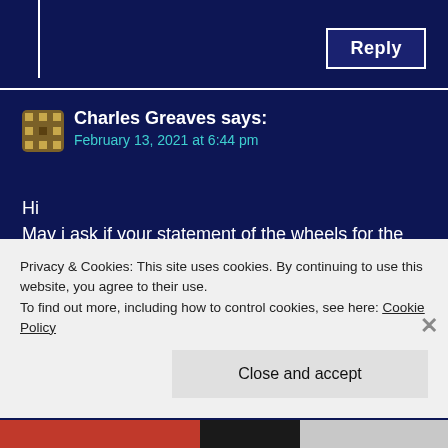Reply
Charles Greaves says:
February 13, 2021 at 6:44 pm
Hi
May i ask if your statement of the wheels for the first fab one is correct .
You have said that the first edition had mustang style wheel hubs yet I've been told by people on gerry Anderson sites that it was the spun hub version that was on the first edition.
Privacy & Cookies: This site uses cookies. By continuing to use this website, you agree to their use.
To find out more, including how to control cookies, see here: Cookie Policy
Close and accept